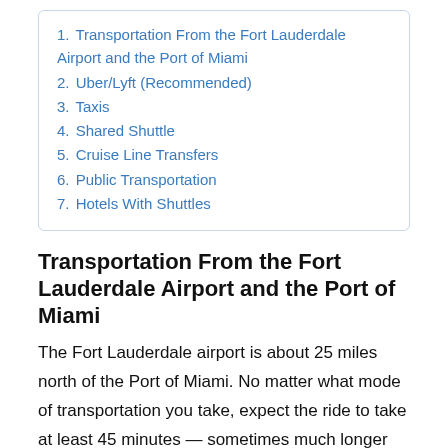1. Transportation From the Fort Lauderdale Airport and the Port of Miami
2. Uber/Lyft (Recommended)
3. Taxis
4. Shared Shuttle
5. Cruise Line Transfers
6. Public Transportation
7. Hotels With Shuttles
Transportation From the Fort Lauderdale Airport and the Port of Miami
The Fort Lauderdale airport is about 25 miles north of the Port of Miami. No matter what mode of transportation you take, expect the ride to take at least 45 minutes — sometimes much longer given South Florida's notorious traffic.